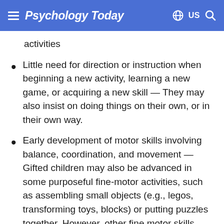Psychology Today — US
activities
Little need for direction or instruction when beginning a new activity, learning a new game, or acquiring a new skill — They may also insist on doing things on their own, or in their own way.
Early development of motor skills involving balance, coordination, and movement — Gifted children may also be advanced in some purposeful fine-motor activities, such as assembling small objects (e.g., legos, transforming toys, blocks) or putting puzzles together. However, other fine motor skills may not be advanced. Some gifted children are